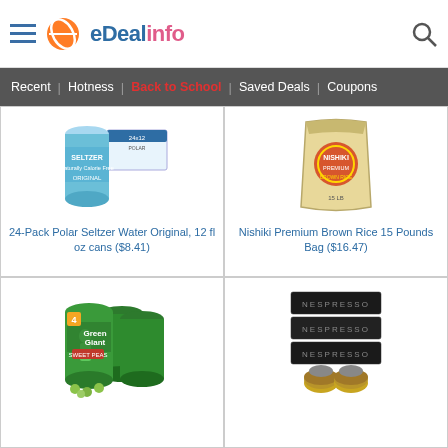eDealinfo
Recent | Hotness | Back to School | Saved Deals | Coupons
[Figure (photo): 24-Pack Polar Seltzer Water Original 12 fl oz cans product image]
24-Pack Polar Seltzer Water Original, 12 fl oz cans ($8.41)
[Figure (photo): Nishiki Premium Brown Rice 15 Pounds Bag product image]
Nishiki Premium Brown Rice 15 Pounds Bag ($16.47)
[Figure (photo): Green Giant Sweet Peas 4-pack canned product image]
[Figure (photo): Nespresso coffee capsules boxes stacked product image]